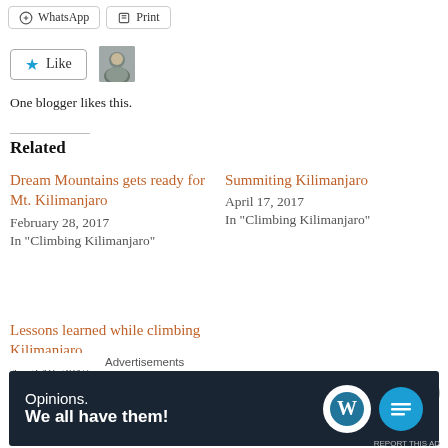[Figure (other): WhatsApp and Print sharing buttons at the top of the page]
[Figure (other): Like button with star icon and a blogger avatar photo]
One blogger likes this.
Related
Dream Mountains gets ready for Mt. Kilimanjaro
February 28, 2017
In "Climbing Kilimanjaro"
Summiting Kilimanjaro
April 17, 2017
In "Climbing Kilimanjaro"
Lessons learned while climbing Kilimanjaro
April 19, 2017
In "Climbing
[Figure (other): Advertisement banner: Opinions. We all have them! with WordPress and another logo]
Advertisements